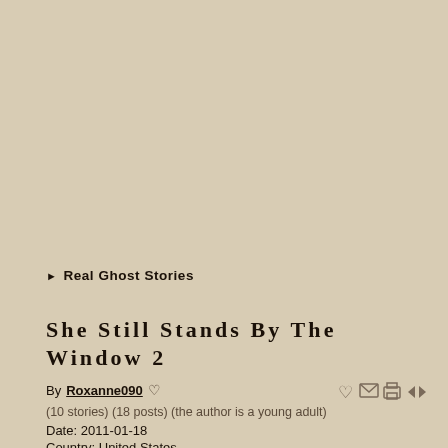Real Ghost Stories
She Still Stands By The Window 2
By Roxanne090 ♡
(10 stories) (18 posts) (the author is a young adult)
Date: 2011-01-18
Country: United States